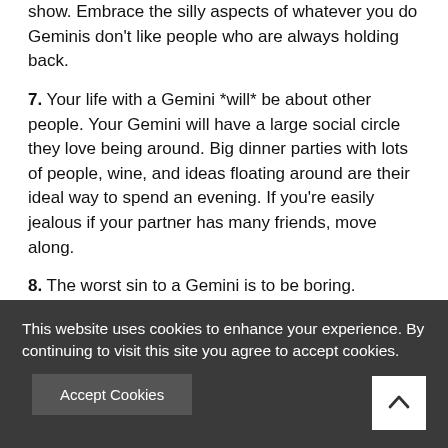show. Embrace the silly aspects of whatever you do Geminis don't like people who are always holding back.
7. Your life with a Gemini *will* be about other people. Your Gemini will have a large social circle they love being around. Big dinner parties with lots of people, wine, and ideas floating around are their ideal way to spend an evening. If you're easily jealous if your partner has many friends, move along.
8. The worst sin to a Gemini is to be boring.
9. A Gemini will flake out on plans. Everyone has flaws and this happens to be theirs. Learn to live with it, or
This website uses cookies to enhance your experience. By continuing to visit this site you agree to accept cookies.